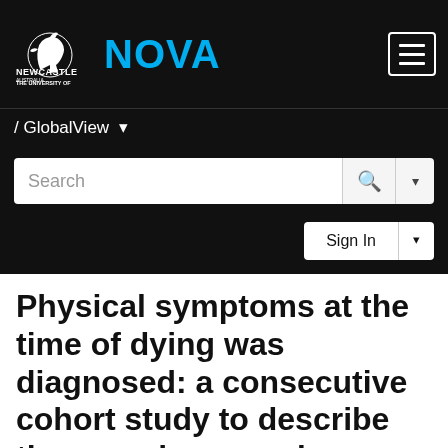[Figure (logo): University of Newcastle Australia NOVA logo with horse motif]
/ GlobalView ▾
Search
Sign In
Physical symptoms at the time of dying was diagnosed: a consecutive cohort study to describe the prevalence and intensity of problems experienced by imminently dying palliative care patients by